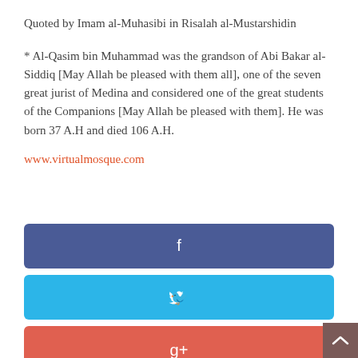Quoted by Imam al-Muhasibi in Risalah al-Mustarshidin
* Al-Qasim bin Muhammad was the grandson of Abi Bakar al-Siddiq [May Allah be pleased with them all], one of the seven great jurist of Medina and considered one of the great students of the Companions [May Allah be pleased with them]. He was born 37 A.H and died 106 A.H.
www.virtualmosque.com
[Figure (other): Facebook share button - blue rounded rectangle with 'f' icon]
[Figure (other): Twitter share button - light blue rounded rectangle with bird icon]
[Figure (other): Google+ share button - red/orange rounded rectangle with 'g+' icon]
[Figure (other): Pinterest share button - dark red rounded rectangle with Pinterest icon]